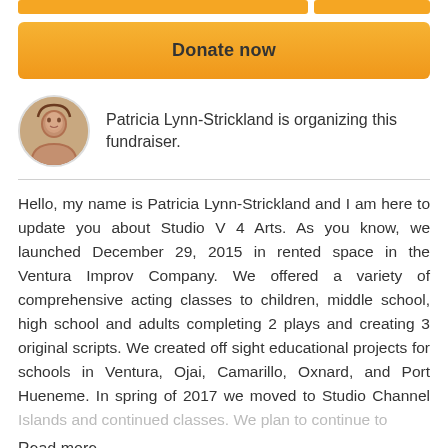[Figure (other): Two orange progress bar segments at top of page]
Donate now
Patricia Lynn-Strickland is organizing this fundraiser.
Hello, my name is Patricia Lynn-Strickland and I am here to update you about Studio V 4 Arts. As you know, we launched December 29, 2015 in rented space in the Ventura Improv Company. We offered a variety of comprehensive acting classes to children, middle school, high school and adults completing 2 plays and creating 3 original scripts. We created off sight educational projects for schools in Ventura, Ojai, Camarillo, Oxnard, and Port Hueneme. In spring of 2017 we moved to Studio Channel Islands and continued classes. We plan to continue to
Read more